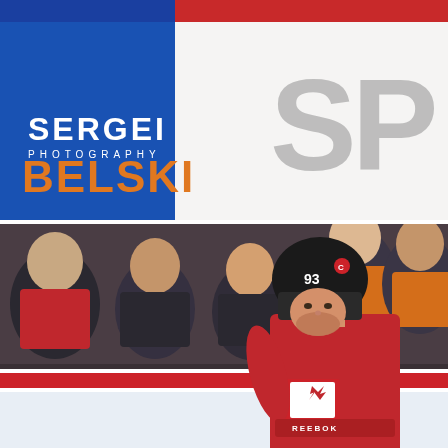[Figure (photo): Close-up of a hockey arena boards/glass with a large 'SPO' partial logo visible on white boards. A blue square in the lower left shows the Sergei Belski Photography watermark logo with 'SERGEI' in white and 'BELSKI' in orange text, with 'PHOTOGRAPHY' in small white letters between them. Red and blue accents visible at top.]
CANON EOSR, 15-35
[Figure (photo): Hockey player wearing number 93 in a black helmet and red Calgary Flames/Team Canada jersey with a Canada maple leaf logo, skating on ice. Crowd visible in the background including fans in red and orange jerseys. Player has beard and appears focused.]